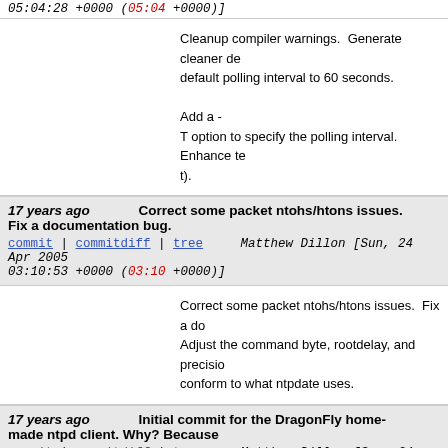05:04:28 +0000 (05:04 +0000)]
Cleanup compiler warnings.  Generate cleaner de default polling interval to 60 seconds.

Add a -
T option to specify the polling interval.  Enhance te t).
17 years ago    Correct some packet ntohs/htons issues. Fix a documentation bug.
commit | commitdiff | tree    Matthew Dillon [Sun, 24 Apr 2005 03:10:53 +0000 (03:10 +0000)]
Correct some packet ntohs/htons issues.  Fix a do Adjust the command byte, rootdelay, and precison conform to what ntpdate uses.
17 years ago    Initial commit for the DragonFly home-made ntpd client. Why? Because
commit | commitdiff | tree    Matthew Dillon [Sun, 24 Apr 2005 02:36:50 +0000 (02:36 +0000)]
Initial commit for the DragonFly home-made ntpd client.  Why?  Because xntpd is ridiculously huge, and OpenBSD's ntpd de correction properly.